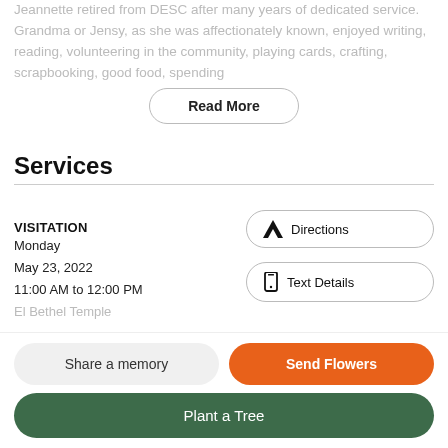Jeannette retired from DESC after many years of dedicated service. Grandma or Jensy, as she was affectionately known, enjoyed writing, reading, volunteering in the community, playing cards, crafting, scrapbooking, good food, spending
Read More
Services
VISITATION
Monday
May 23, 2022
11:00 AM to 12:00 PM
El Bethel Temple
Directions
Text Details
Share a memory
Send Flowers
Plant a Tree